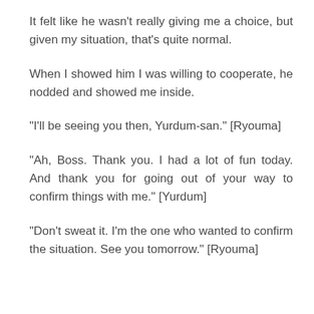It felt like he wasn't really giving me a choice, but given my situation, that's quite normal.
When I showed him I was willing to cooperate, he nodded and showed me inside.
“I’ll be seeing you then, Yurdum-san.” [Ryouma]
“Ah, Boss. Thank you. I had a lot of fun today. And thank you for going out of your way to confirm things with me.” [Yurdum]
“Don’t sweat it. I’m the one who wanted to confirm the situation. See you tomorrow.” [Ryouma]